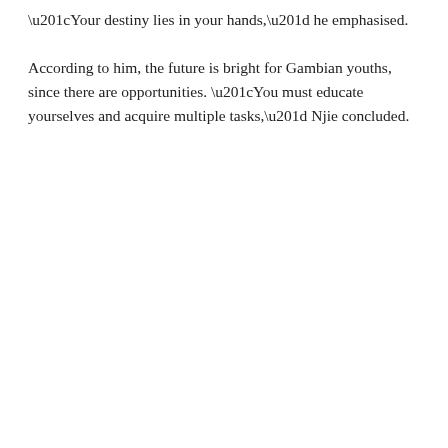“Your destiny lies in your hands,” he emphasised. According to him, the future is bright for Gambian youths, since there are opportunities. “You must educate yourselves and acquire multiple tasks,” Njie concluded.